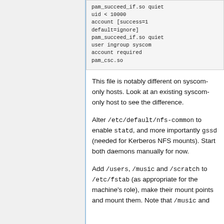[Figure (other): Code block showing PAM configuration with lines: pam_succeed_if.so quiet uid < 10000, account [success=1 default=ignore] pam_succeed_if.so quiet user ingroup syscom, account required pam_csc.so]
This file is notably different on syscom-only hosts. Look at an existing syscom-only host to see the difference.
Alter /etc/default/nfs-common to enable statd, and more importantly gssd (needed for Kerberos NFS mounts). Start both daemons manually for now.
Add /users, /music and /scratch to /etc/fstab (as appropriate for the machine's role), make their mount points and mount them. Note that /music and